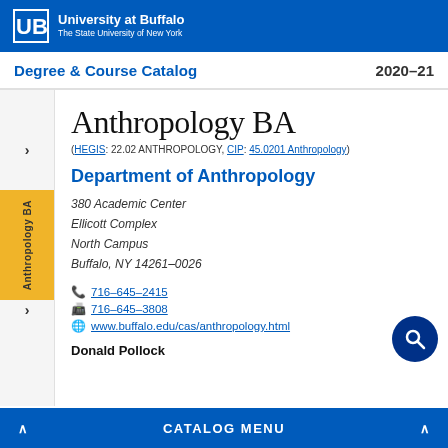University at Buffalo The State University of New York
Degree & Course Catalog 2020-21
Anthropology BA
(HEGIS: 22.02 ANTHROPOLOGY, CIP: 45.0201 Anthropology)
Department of Anthropology
380 Academic Center
Ellicott Complex
North Campus
Buffalo, NY 14261-0026
716-645-2415
716-645-3808
www.buffalo.edu/cas/anthropology.html
Donald Pollock
CATALOG MENU